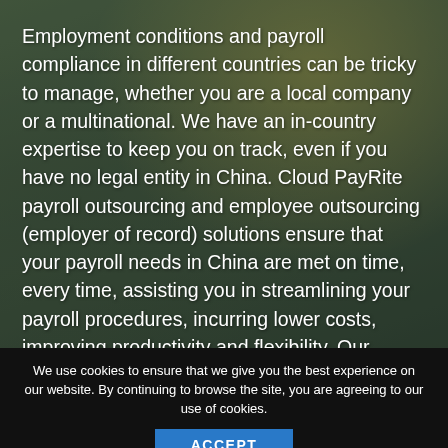Employment conditions and payroll compliance in different countries can be tricky to manage, whether you are a local company or a multinational. We have an in-country expertise to keep you on track, even if you have no legal entity in China. Cloud PayRite payroll outsourcing and employee outsourcing (employer of record) solutions ensure that your payroll needs in China are met on time, every time, assisting you in streamlining your payroll procedures, incurring lower costs, improving productivity and flexibility. Our advanced cloud-based technology integrates all of your Payroll and HR information and keeps you in charge, wherever you are.
We use cookies to ensure that we give you the best experience on our website. By continuing to browse the site, you are agreeing to our use of cookies.
ACCEPT